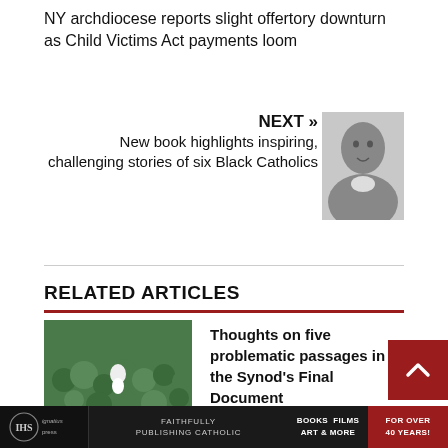NY archdiocese reports slight offertory downturn as Child Victims Act payments loom
NEXT »
New book highlights inspiring, challenging stories of six Black Catholics
[Figure (photo): Portrait illustration of a Black Catholic man in clerical attire]
RELATED ARTICLES
[Figure (photo): Green crowd photo related to Synod article]
Thoughts on five problematic passages in the Synod's Final Document
[Figure (photo): Blank placeholder thumbnail for female athletes article]
Female athletes can't be silent when forced to compete with males, attorney argues
Ignatius Press | FAITHFULLY PUBLISHING CATHOLIC | BOOKS FILMS ART & MORE | FOR OVER 40 YEARS!